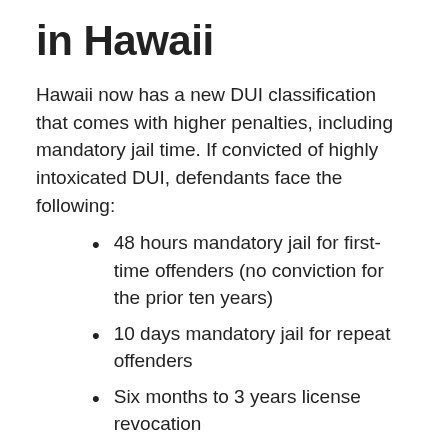in Hawaii
Hawaii now has a new DUI classification that comes with higher penalties, including mandatory jail time. If convicted of highly intoxicated DUI, defendants face the following:
48 hours mandatory jail for first-time offenders (no conviction for the prior ten years)
10 days mandatory jail for repeat offenders
Six months to 3 years license revocation
If you have been charged with highly intoxicated DUI, a Kona DUI lawyer can help. Many highly intoxicated cases result from flawed evidence, which opens the possibility for a plea to a standard